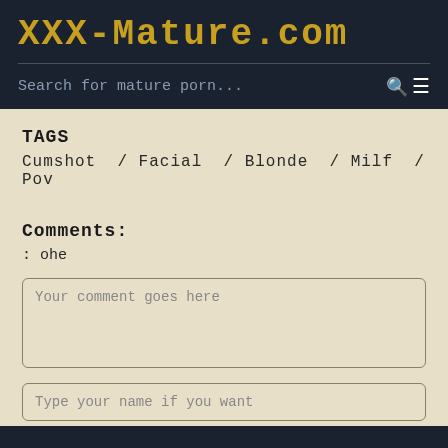XXX-Mature.com
Search for mature porn...
TAGS
Cumshot / Facial / Blonde / Milf / Pov
Comments:
: ohe
Your comment goes here
Type your name if you want